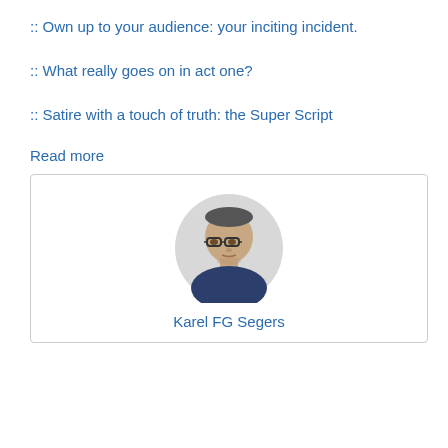:: Own up to your audience: your inciting incident.
:: What really goes on in act one?
:: Satire with a touch of truth: the Super Script
Read more
[Figure (photo): Portrait photo of Karel FG Segers, a man with glasses and short hair, in a rounded card with his name below.]